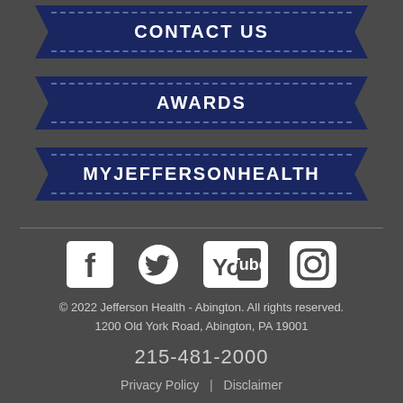CONTACT US
AWARDS
MYJEFFERSONHEALTH
[Figure (infographic): Social media icons: Facebook, Twitter, YouTube, Instagram]
© 2022 Jefferson Health - Abington. All rights reserved. 1200 Old York Road, Abington, PA 19001
215-481-2000
Privacy Policy | Disclaimer